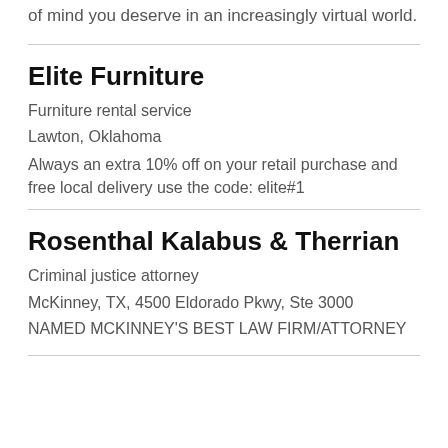of mind you deserve in an increasingly virtual world.
Elite Furniture
Furniture rental service
Lawton, Oklahoma
Always an extra 10% off on your retail purchase and free local delivery use the code: elite#1
Rosenthal Kalabus & Therrian
Criminal justice attorney
McKinney, TX, 4500 Eldorado Pkwy, Ste 3000
NAMED MCKINNEY'S BEST LAW FIRM/ATTORNEY